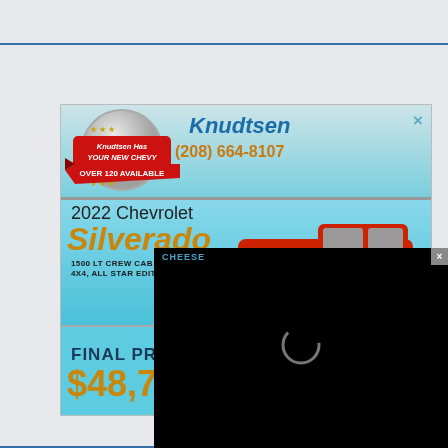[Figure (screenshot): Knudtsen Chevrolet dealership advertisement overlay showing 2022 Chevrolet Silverado 1500 LT Crew Cab Short Box 4x4 All Star Edition with final price $48,721, badge saying Knudtsen Has Your New Chevy Over 120 Available, phone number (208) 664-8107, and a video overlay with loading spinner and close button.]